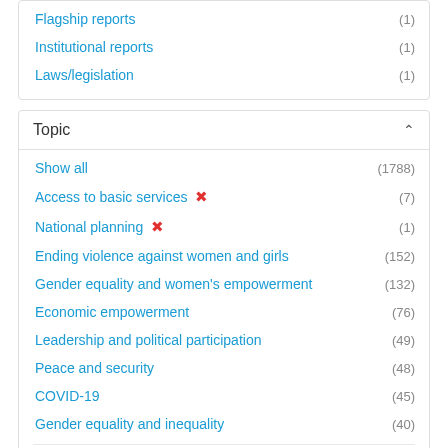Flagship reports (1)
Institutional reports (1)
Laws/legislation (1)
Topic
Show all (1788)
Access to basic services ✕ (7)
National planning ✕ (1)
Ending violence against women and girls (152)
Gender equality and women's empowerment (132)
Economic empowerment (76)
Leadership and political participation (49)
Peace and security (48)
COVID-19 (45)
Gender equality and inequality (40)
Show more